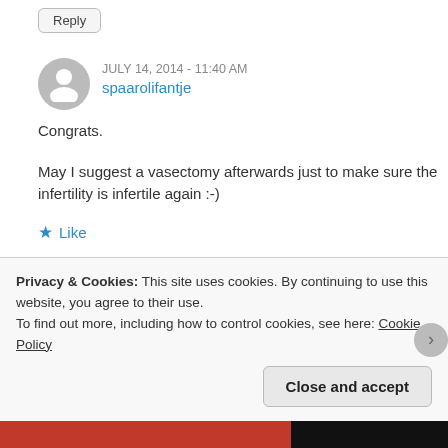Reply
JULY 14, 2014 - 11:40 AM
spaarolifantje
Congrats.
May I suggest a vasectomy afterwards just to make sure the infertility is infertile again :-)
Like
Reply
JULY 14, 2014 - 11:49 AM
Privacy & Cookies: This site uses cookies. By continuing to use this website, you agree to their use. To find out more, including how to control cookies, see here: Cookie Policy
Close and accept